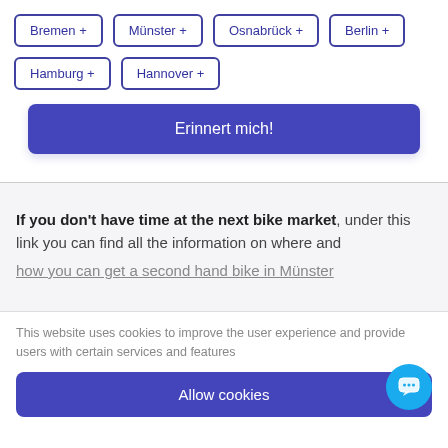Bremen +
Münster +
Osnabrück +
Berlin +
Hamburg +
Hannover +
Erinnert mich!
If you don't have time at the next bike market, under this link you can find all the information on where and how you can get a second hand bike in Münster
This website uses cookies to improve the user experience and provide users with certain services and features
Allow cookies